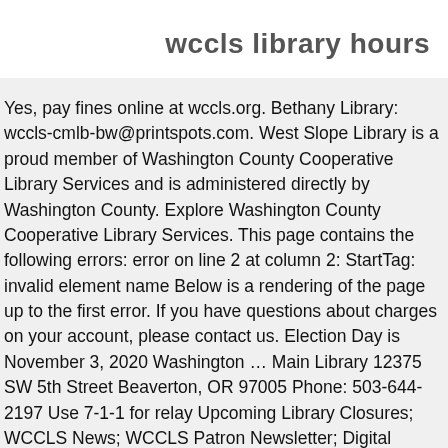wccls library hours
Yes, pay fines online at wccls.org. Bethany Library: wccls-cmlb-bw@printspots.com. West Slope Library is a proud member of Washington County Cooperative Library Services and is administered directly by Washington County. Explore Washington County Cooperative Library Services. This page contains the following errors: error on line 2 at column 2: StartTag: invalid element name Below is a rendering of the page up to the first error. If you have questions about charges on your account, please contact us. Election Day is November 3, 2020 Washington … Main Library 12375 SW 5th Street Beaverton, OR 97005 Phone: 503-644-2197 Use 7-1-1 for relay Upcoming Library Closures; WCCLS News; WCCLS Patron Newsletter; Digital Library . If you are no longer interested in your hold items, it's easy to cancel your holds online. Winter Holiday